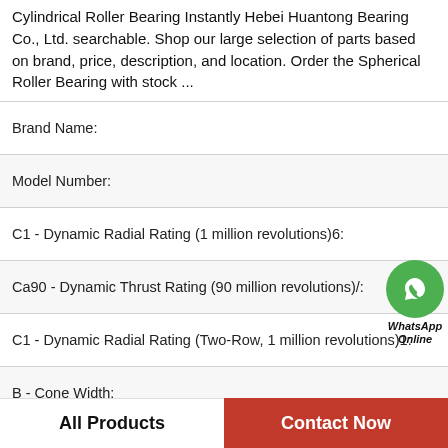Cylindrical Roller Bearing Instantly Hebei Huantong Bearing Co., Ltd. searchable. Shop our large selection of parts based on brand, price, description, and location. Order the Spherical Roller Bearing with stock ...
| Brand Name: |
| Model Number: |
| C1 - Dynamic Radial Rating (1 million revolutions)6: |
| Ca90 - Dynamic Thrust Rating (90 million revolutions)/: |
| C1 - Dynamic Radial Rating (Two-Row, 1 million revolutions)1: |
| B - Cone Width: |
| Cone Part Number: |
| K1 - Non-separating Cone / Rib Roller Path ... |
[Figure (other): WhatsApp Online green phone bubble icon with label 'WhatsApp Online']
All Products   Contact Now